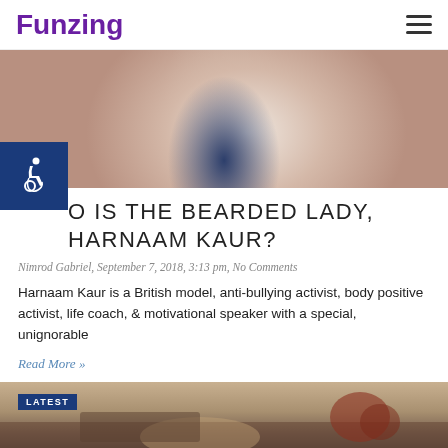Funzing
[Figure (photo): Hero image showing a woman wearing a floral kimono/wrap, close-up torso shot with beige and floral patterns]
WHO IS THE BEARDED LADY, HARNAAM KAUR?
Nimrod Gabriel, September 7, 2018, 3:13 pm, No Comments
Harnaam Kaur is a British model, anti-bullying activist, body positive activist, life coach, & motivational speaker with a special, unignorable
Read More »
[Figure (photo): Bottom image showing a person at a table, with a LATEST badge overlay in the bottom left corner]